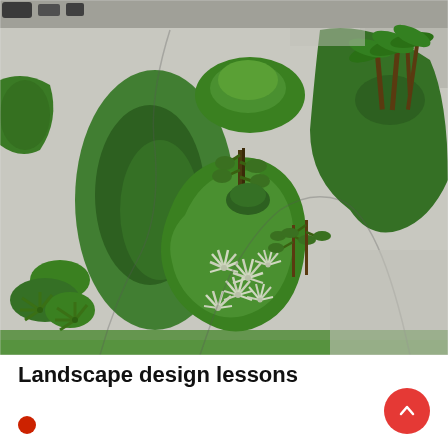[Figure (photo): Aerial view of a formal landscape garden with winding gravel/concrete paths separating curved organic-shaped green planted islands. Islands contain trimmed hedges, palm trees, decorative white spiky plants, and mixed tropical plantings. Shot from above looking down at approximately 45 degrees.]
Landscape design lessons